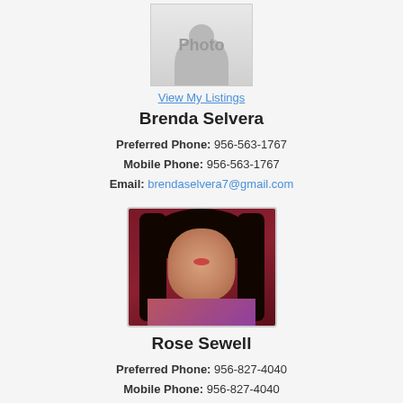[Figure (photo): Placeholder profile photo for Brenda Selvera with 'Photo' text]
View My Listings
Brenda Selvera
Preferred Phone: 956-563-1767
Mobile Phone: 956-563-1767
Email: brendaselvera7@gmail.com
[Figure (photo): Profile photo of Rose Sewell, a woman with long dark hair smiling, against a dark red background]
Rose Sewell
Preferred Phone: 956-827-4040
Mobile Phone: 956-827-4040
Email: realestatebyrose@yahoo.com